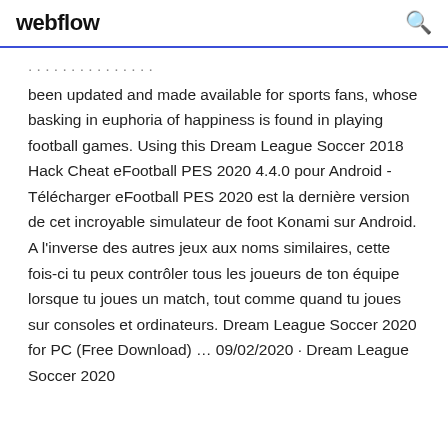webflow
been updated and made available for sports fans, whose basking in euphoria of happiness is found in playing football games. Using this Dream League Soccer 2018 Hack Cheat eFootball PES 2020 4.4.0 pour Android - Télécharger eFootball PES 2020 est la dernière version de cet incroyable simulateur de foot Konami sur Android. A l'inverse des autres jeux aux noms similaires, cette fois-ci tu peux contrôler tous les joueurs de ton équipe lorsque tu joues un match, tout comme quand tu joues sur consoles et ordinateurs. Dream League Soccer 2020 for PC (Free Download) … 09/02/2020 · Dream League Soccer 2020